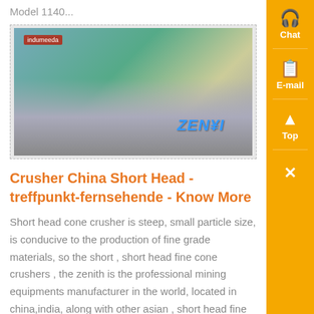Model 1140...
[Figure (photo): Aerial view of a mining/crushing plant facility with yellow and blue equipment, ZENITH logo visible]
Crusher China Short Head - treffpunkt-fernsehende - Know More
Short head cone crusher is steep, small particle size, is conducive to the production of fine grade materials, so the short , short head fine cone crushers , the zenith is the professional mining equipments manufacturer in the world, located in china,india, along with other asian , short head fine cone crusher output Read More...
[Figure (photo): Another mining/crushing equipment photo at bottom of page]